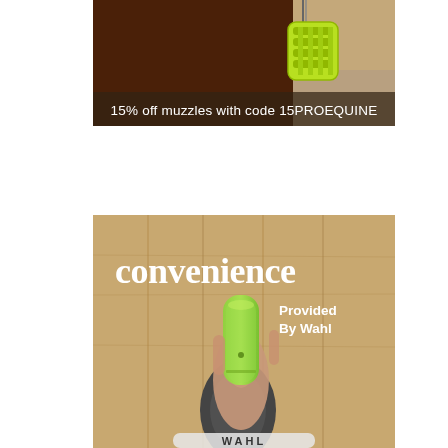[Figure (photo): Advertisement photo of a chestnut horse wearing a bright yellow-green grazing muzzle. Text overlay at bottom reads '15% off muzzles with code 15PROEQUINE'.]
[Figure (photo): Advertisement photo by Wahl showing a hand holding a green electric trimmer/clipper being used on a horse's ear, with a wooden fence background. Large white text reads 'convenience' and smaller text reads 'Provided By Wahl'.]